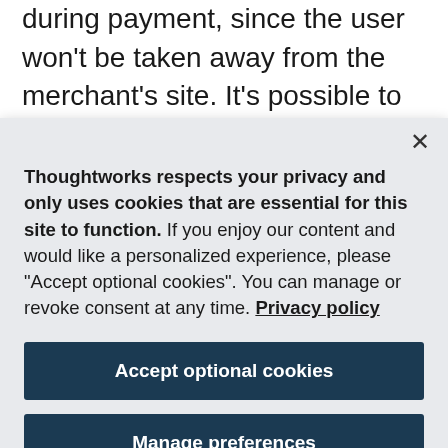during payment, since the user won't be taken away from the merchant's site. It's possible to collect user data and use it for later marketing activities. The hosted payment gateway requires the merchant to host the entire payment experience to the payment
[Figure (screenshot): Cookie consent modal overlay with close button (×), privacy notice text, 'Accept optional cookies' button, and 'Manage preferences' button, displayed over a webpage background.]